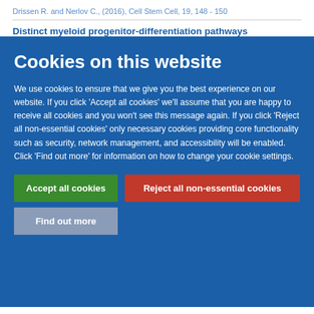Drissen R. and Nerlov C., (2016), Cell Stem Cell, 19, 148 - 150
Distinct myeloid progenitor-differentiation pathways
Cookies on this website
We use cookies to ensure that we give you the best experience on our website. If you click 'Accept all cookies' we'll assume that you are happy to receive all cookies and you won't see this message again. If you click 'Reject all non-essential cookies' only necessary cookies providing core functionality such as security, network management, and accessibility will be enabled. Click 'Find out more' for information on how to change your cookie settings.
Accept all cookies
Reject all non-essential cookies
Find out more